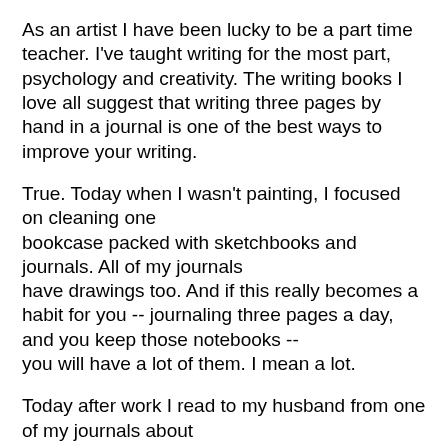As an artist I have been lucky to be a part time teacher. I've taught writing for the most part, psychology and creativity. The writing books I love all suggest that writing three pages by hand in a journal is one of the best ways to improve your writing.
True.  Today when I wasn't painting, I focused on cleaning one bookcase packed with sketchbooks and journals.  All of my journals have drawings too.  And if this really becomes a habit for you -- journaling three pages a day, and you keep those notebooks -- you will have a lot of them.  I mean a lot.
Today after work I read to my husband from one of my journals about our life in the first months after our firstborn came into our lives. His birthday is one day after Canada Day.  We were moved thinking about those days, and how happy, exhausted, and naive we